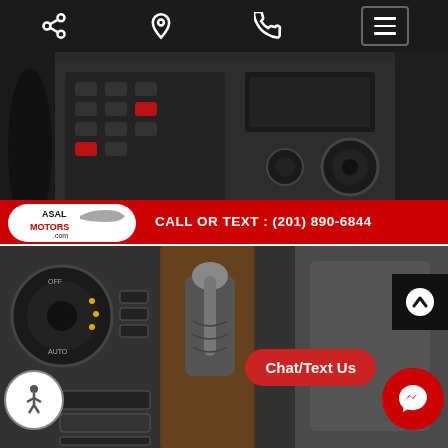[Figure (screenshot): Mobile website navigation bar with share, location, phone, and hamburger menu icons on dark background]
[Figure (photo): Car interior photo showing dashboard controls, radio/media buttons, and center console of a Mercedes-Benz vehicle with dealer overlay: ASAL MOTORS logo and CALL OR TEXT: (201) 890-6844]
[Figure (photo): Car interior photo showing center console with gear shifter, climate control dial, and wood trim of a Mercedes-Benz vehicle]
Chat/Text Us
CALL OR TEXT : (201) 890-6844